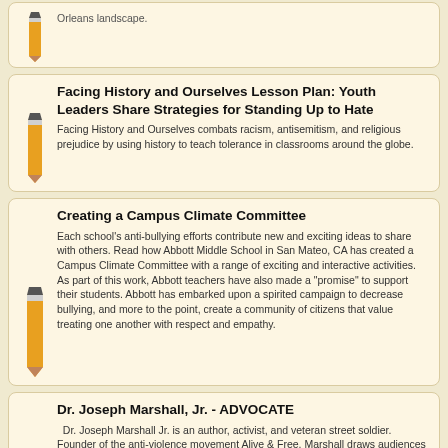Orleans landscape.
Facing History and Ourselves Lesson Plan: Youth Leaders Share Strategies for Standing Up to Hate
Facing History and Ourselves combats racism, antisemitism, and religious prejudice by using history to teach tolerance in classrooms around the globe.
Creating a Campus Climate Committee
Each school's anti-bullying efforts contribute new and exciting ideas to share with others. Read how Abbott Middle School in San Mateo, CA has created a Campus Climate Committee with a range of exciting and interactive activities. As part of this work, Abbott teachers have also made a "promise" to support their students. Abbott has embarked upon a spirited campaign to decrease bullying, and more to the point, create a community of citizens that value treating one another with respect and empathy.
Dr. Joseph Marshall, Jr. - ADVOCATE
Dr. Joseph Marshall Jr. is an author, activist, and veteran street soldier. Founder of the anti-violence movement Alive & Free, Marshall draws audiences from across the country to his weekly radio program, Street Soldiers—a name Dr. Marshall uses to describe people working to eliminate violence in their communities. To help keep his own community safer, Dr. Marshall co-founded the Omega Boys Club after years of working as a middle school teacher and seeing too many of his students lost to drugs and violence.
Fred Korematsu: A Civil Rights Hero
"We are all Americans in this country." — Fred Korematsu (1919-2005)